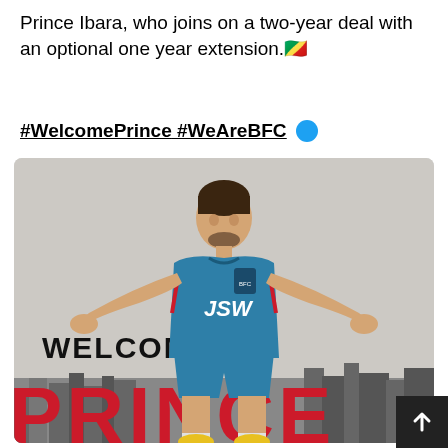Prince Ibara, who joins on a two-year deal with an optional one year extension. 🇨🇬
#WelcomePrince #WeAreBFC 🔵
[Figure (illustration): Illustrated promotional image of footballer Prince Ibara wearing a blue Bengaluru FC (JSW) jersey, arms outstretched in a celebratory pose, standing above a city skyline. Large red bold text 'PRINCE' partially visible at the bottom. Text 'WELCOME' appears in black on the left side of the image.]